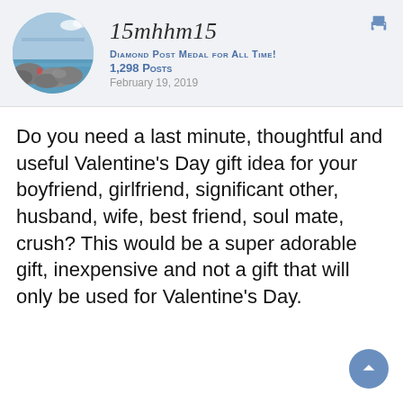[Figure (photo): Circular avatar photo of a rocky coastal scene with blue ocean water and a pier/jetty in the background under a partly cloudy sky.]
15mhhm15
Diamond Post Medal for All Time!
1,298 Posts
February 19, 2019
Do you need a last minute, thoughtful and useful Valentine's Day gift idea for your boyfriend, girlfriend, significant other, husband, wife, best friend, soul mate, crush? This would be a super adorable gift, inexpensive and not a gift that will only be used for Valentine's Day.